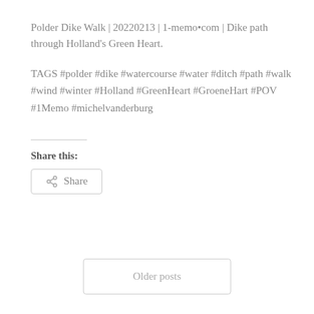Polder Dike Walk | 20220213 | 1-memo•com | Dike path through Holland's Green Heart.
TAGS #polder #dike #watercourse #water #ditch #path #walk #wind #winter #Holland #GreenHeart #GroeneHart #POV #1Memo #michelvanderburg
Share this:
Share
Older posts